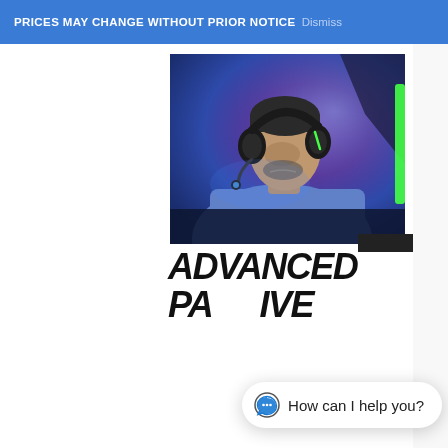PRICES MAY CHANGE WITHOUT PRIOR NOTICE Dismiss
[Figure (photo): A man wearing a gaming headset with green accents, seated in front of a monitor, illuminated by blue and purple gaming lights. He appears focused, looking downward at a screen.]
ADVANCED PASSIVE
How can I help you?